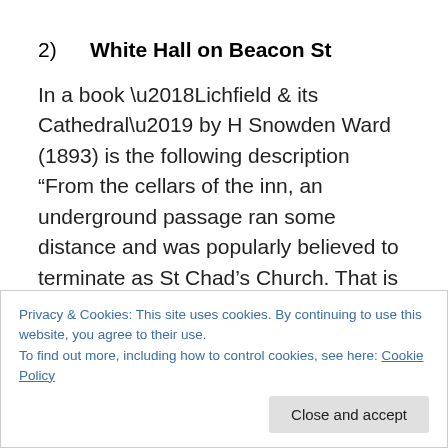2)   White Hall on Beacon St
In a book ‘Lichfield & its Cathedral’ by H Snowden Ward (1893) is the following description “From the cellars of the inn, an underground passage ran some distance and was popularly believed to terminate as St Chad’s Church. That is went so far is extremely unlikely, and what was its object or termination will never be known, for a few years ago the
Privacy & Cookies: This site uses cookies. By continuing to use this website, you agree to their use.
To find out more, including how to control cookies, see here: Cookie Policy